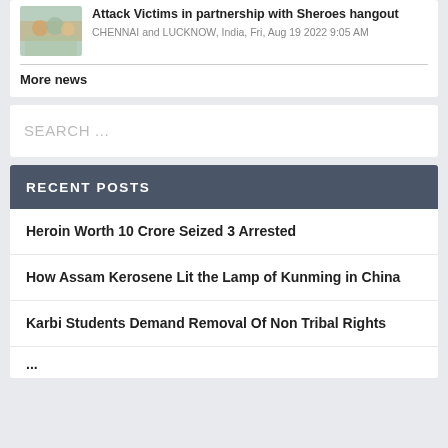[Figure (photo): Small thumbnail photo of people at an event]
Attack Victims in partnership with Sheroes hangout
CHENNAI and LUCKNOW, India, Fri, Aug 19 2022 9:05 AM
More news
SEARCH ...
RECENT POSTS
Heroin Worth 10 Crore Seized 3 Arrested
How Assam Kerosene Lit the Lamp of Kunming in China
Karbi Students Demand Removal Of Non Tribal Rights
...